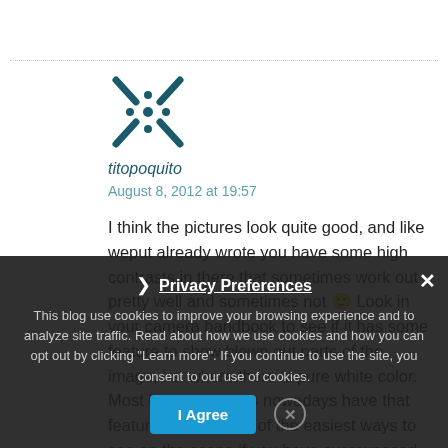[Figure (logo): Decorative avatar icon with an X-like shape and dots, in dark teal color]
titopoquito
August 8, 2012 at 19:57
I think the pictures look quite good, and like weput already wrote you have some high contrasts in there that sometimes work out pretty well and sometimes not 🙂 Look in your camera handbook to see if it has some feature to show blown out parts of the image, i.e. where there is pure white color. Most better cameras nowadays have that feature and it is one of the easiest ways to see on the scene if you have overexposed the picture. In most cameras I know the
This blog use cookies to improve your browsing experience and to analyze site traffic. Read about how we use cookies and how you can opt out by clicking "Learn more". If you continue to use the site, you consent to our use of cookies.
Privacy Preferences
I Agree